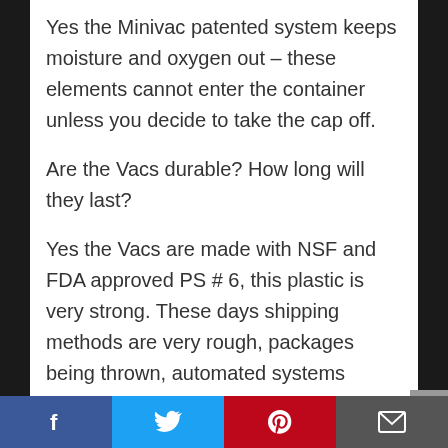Yes the Minivac patented system keeps moisture and oxygen out – these elements cannot enter the container unless you decide to take the cap off.
Are the Vacs durable? How long will they last?
Yes the Vacs are made with NSF and FDA approved PS # 6, this plastic is very strong. These days shipping methods are very rough, packages being thrown, automated systems dropping huge parcels on top of smaller ones. If your Vac arrives damaged